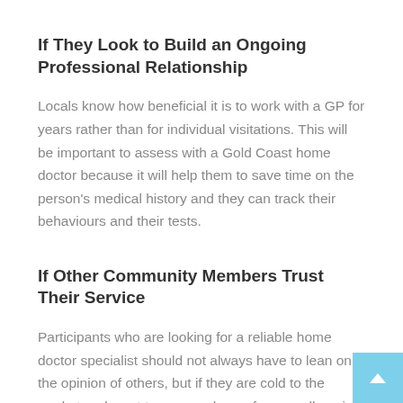If They Look to Build an Ongoing Professional Relationship
Locals know how beneficial it is to work with a GP for years rather than for individual visitations. This will be important to assess with a Gold Coast home doctor because it will help them to save time on the person's medical history and they can track their behaviours and their tests.
If Other Community Members Trust Their Service
Participants who are looking for a reliable home doctor specialist should not always have to lean on the opinion of others, but if they are cold to the market and want to gauge who performs well against public expectations, then it can be a good way of understanding who is trusted in this domain. Run an online search to see how